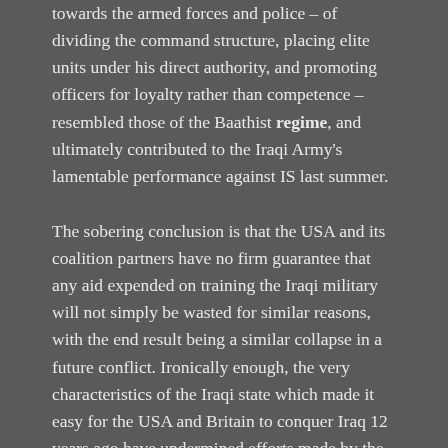towards the armed forces and police – of dividing the command structure, placing elite units under his direct authority, and promoting officers for loyalty rather than competence – resembled those of the Baathist regime, and ultimately contributed to the Iraqi Army's lamentable performance against IS last summer.
The sobering conclusion is that the USA and its coalition partners have no firm guarantee that any aid expended on training the Iraqi military will not simply be wasted for similar reasons, with the end result being a similar collapse in a future conflict. Ironically enough, the very characteristics of the Iraqi state which made it easy for the USA and Britain to conquer Iraq 12 years ago have undermined efforts made by the former occupiers to re-establish efficient and viable military and security forces in this state.
In conclusion, further military intervention. The end of